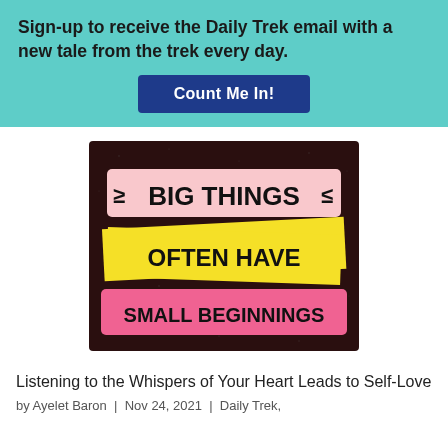Sign-up to receive the Daily Trek email with a new tale from the trek every day.
Count Me In!
[Figure (illustration): Motivational poster with dark brown speckled background. Three banner ribbons stacked: pink ribbon at top with 'BIG THINGS' in bold black text with decorative wing flourishes; yellow ribbon in middle with 'OFTEN HAVE' in bold black text; pink ribbon at bottom with 'SMALL BEGINNINGS' in bold black text.]
Listening to the Whispers of Your Heart Leads to Self-Love
by Ayelet Baron | Nov 24, 2021 | Daily Trek,